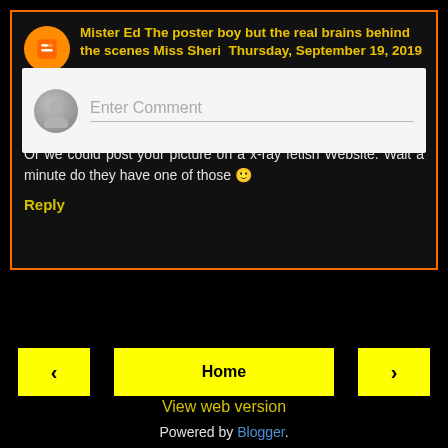Mister Ed The poster boy but the real brains behind the scenes Miss Sheri  Thursday, September 19, 2019

Would you please have a little modesty and put some pants on after all this may possibly be a family channel or we could nominate
Or we could post your picture on a x-ray fetish Website. Wait a minute do they have one of those 🙂
Reply
Enter Comment
Home
View web version
Powered by Blogger.